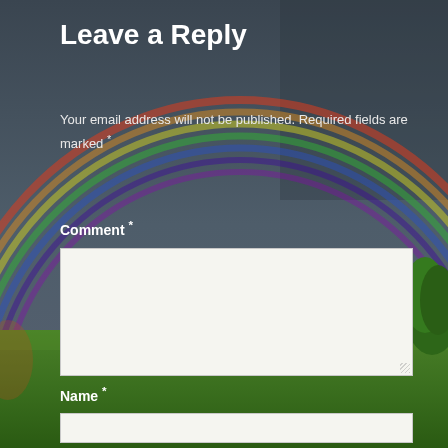[Figure (photo): Background photo of a dark stormy sky with a rainbow arcing across it and green grass at the bottom. A green tree is visible on the right side.]
Leave a Reply
Your email address will not be published. Required fields are marked *
Comment *
Name *